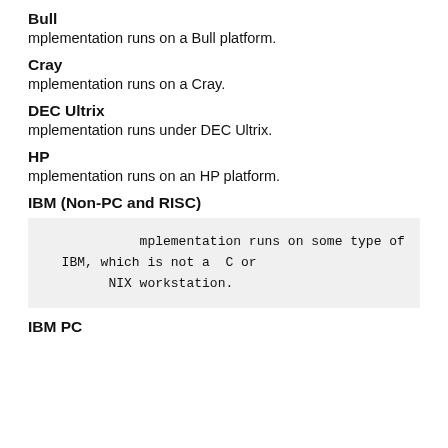Bull
mplementation runs on a Bull platform.
Cray
mplementation runs on a Cray.
DEC Ultrix
mplementation runs under DEC Ultrix.
HP
mplementation runs on an HP platform.
IBM (Non-PC and RISC)
mplementation runs on some type of
  IBM, which is not a  C or
        NIX workstation.
IBM PC